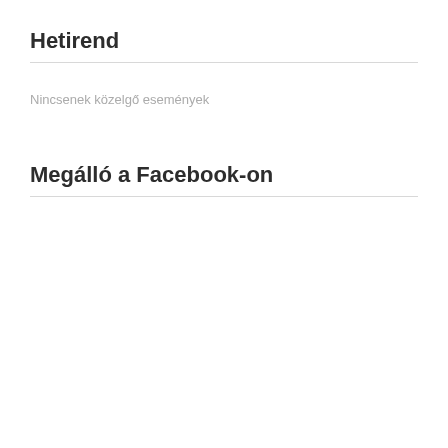Hetirend
Nincsenek közelgő események
Megálló a Facebook-on